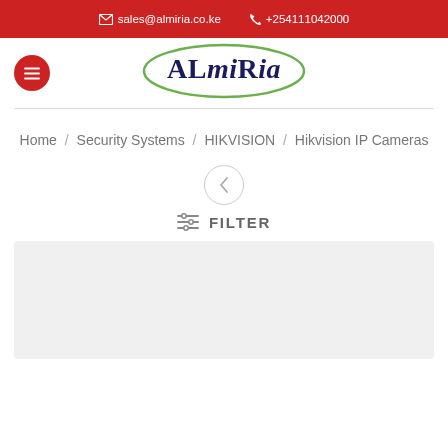sales@almiria.co.ke  +254111042000
[Figure (logo): ALmiRia company logo with green ellipse outline and dark navy text]
Home / Security Systems / HIKVISION / Hikvision IP Cameras
[Figure (other): Back navigation circle button with left chevron arrow]
FILTER
[Figure (other): Light grey product listing area placeholder]